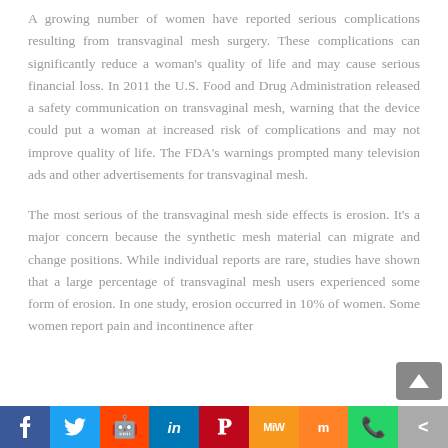A growing number of women have reported serious complications resulting from transvaginal mesh surgery. These complications can significantly reduce a woman's quality of life and may cause serious financial loss. In 2011 the U.S. Food and Drug Administration released a safety communication on transvaginal mesh, warning that the device could put a woman at increased risk of complications and may not improve quality of life. The FDA's warnings prompted many television ads and other advertisements for transvaginal mesh.
The most serious of the transvaginal mesh side effects is erosion. It's a major concern because the synthetic mesh material can migrate and change positions. While individual reports are rare, studies have shown that a large percentage of transvaginal mesh users experienced some form of erosion. In one study, erosion occurred in 10% of women. Some women report pain and incontinence after